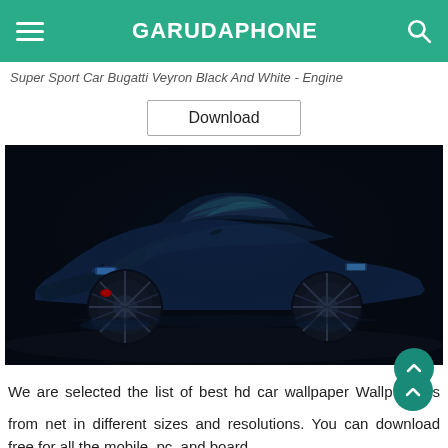GARUDAPHONE
Super Sport Car Bugatti Veyron Black And White - Engine
Download
[Figure (photo): A dark blue Bugatti Veyron Super Sport car photographed in a dark studio setting, viewed from a front three-quarter angle. The car has sleek aerodynamic bodywork and large multi-spoke wheels.]
We are selected the list of best hd car wallpaper Wallpapers from net in different sizes and resolutions. You can download free for all the mobile, pc, and board.